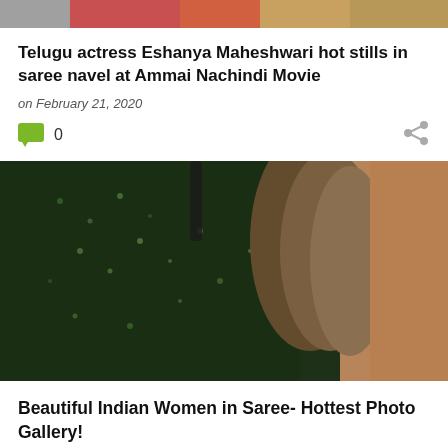[Figure (photo): Cropped top portion of a photo strip showing people in colorful attire]
Telugu actress Eshanya Maheshwari hot stills in saree navel at Ammai Nachindi Movie
on February 21, 2020
0
[Figure (photo): A woman wearing a dark green sequined dress with long brown hair, photographed against a wooden/brown background]
Beautiful Indian Women in Saree- Hottest Photo Gallery!